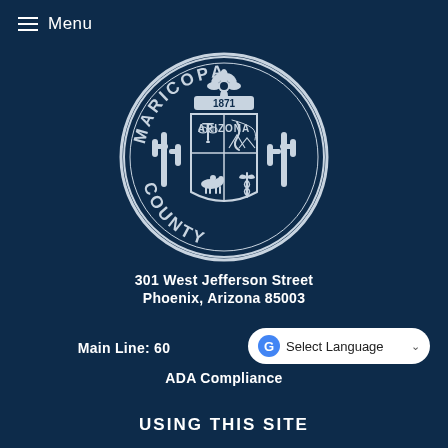Menu
[Figure (logo): Maricopa County Arizona official seal — circular seal with 'MARICOPA' arched at top, 'COUNTY' arched at bottom, '1871' banner, flower at top, saguaro cacti on sides, quartered shield with scales of justice, road/river, horse and rider, caduceus, 'ARIZONA' text inside]
301 West Jefferson Street
Phoenix, Arizona 85003
Main Line: 60
Select Language
ADA Compliance
USING THIS SITE